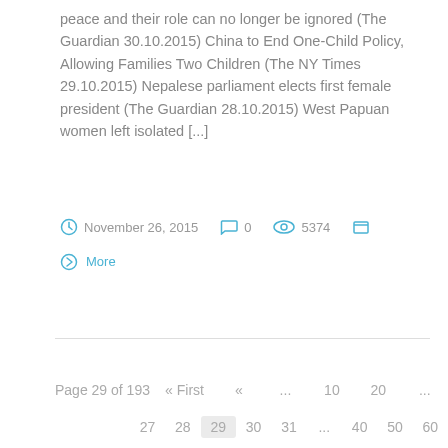peace and their role can no longer be ignored (The Guardian 30.10.2015) China to End One-Child Policy, Allowing Families Two Children (The NY Times 29.10.2015) Nepalese parliament elects first female president (The Guardian 28.10.2015) West Papuan women left isolated [...]
November 26, 2015  0  5374
More
Page 29 of 193  « First  «  ...  10  20  ...  27  28  29  30  31  ...  40  50  60